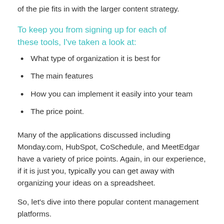of the pie fits in with the larger content strategy.
To keep you from signing up for each of these tools, I've taken a look at:
What type of organization it is best for
The main features
How you can implement it easily into your team
The price point.
Many of the applications discussed including Monday.com, HubSpot, CoSchedule, and MeetEdgar have a variety of price points. Again, in our experience, if it is just you, typically you can get away with organizing your ideas on a spreadsheet.
So, let's dive into there popular content management platforms.